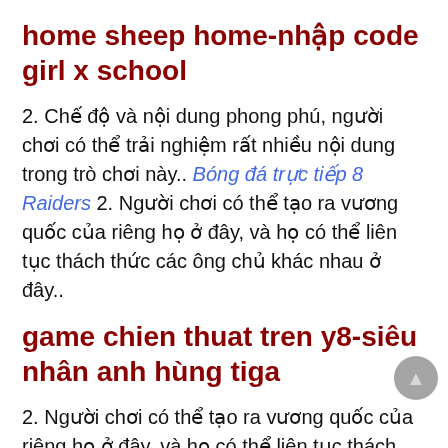home sheep home-nhập code girl x school
2. Chế độ và nội dung phong phú, người chơi có thể trải nghiệm rất nhiều nội dung trong trò chơi này.. Bóng đá trực tiếp 8 Raiders 2. Người chơi có thể tạo ra vương quốc của riêng họ ở đây, và họ có thể liên tục thách thức các ông chủ khác nhau ở đây..
game chien thuat tren y8-siêu nhân anh hùng tiga
2. Người chơi có thể tạo ra vương quốc của riêng họ ở đây, và họ có thể liên tục thách thức các ông chủ khác nhau ở đây.. choi game mario nhat ban